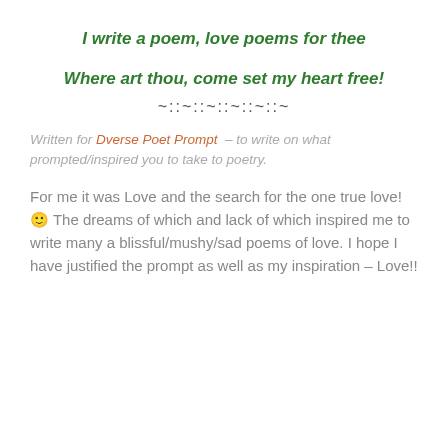I write a poem, love poems for thee
Where art thou, come set my heart free!
~::~::~::~::~::~
Written for Dverse Poet Prompt – to write on what prompted/inspired you to take to poetry.
For me it was Love and the search for the one true love! 🙂 The dreams of which and lack of which inspired me to write many a blissful/mushy/sad poems of love. I hope I have justified the prompt as well as my inspiration – Love!!